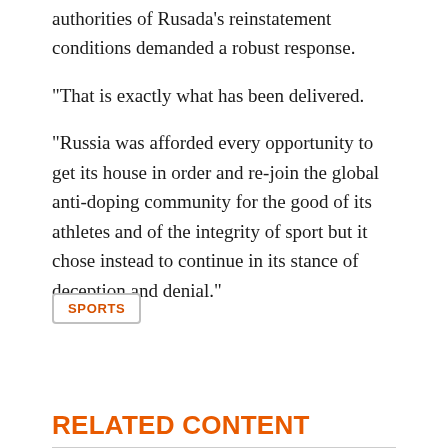authorities of Rusada's reinstatement conditions demanded a robust response.
"That is exactly what has been delivered.
"Russia was afforded every opportunity to get its house in order and re-join the global anti-doping community for the good of its athletes and of the integrity of sport but it chose instead to continue in its stance of deception and denial."
SPORTS
RELATED CONTENT